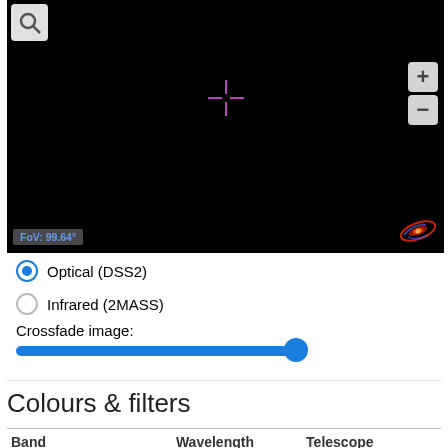[Figure (screenshot): Sky viewer showing a black field of view with a pink/magenta crosshair at center, a search icon button in the top-left, zoom plus/minus controls on the right, a FoV label showing '99.64°' in the bottom-left, and a galaxy logo in the bottom-right.]
Optical (DSS2)
Infrared (2MASS)
Crossfade image:
Colours & filters
| Band | Wavelength | Telescope |
| --- | --- | --- |
| Optical
B | 435 nm | Hubble Space
Telescope |